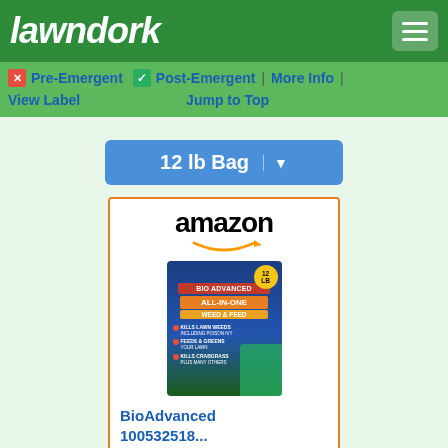lawndork
Pre-Emergent | Post-Emergent | More Info | View Label | Jump to Top
12 lb Bag
[Figure (screenshot): Amazon product listing card for BioAdvanced 100532518... priced at $41.03 with Prime, showing product image of a lawn weed and feed bag, with Shop now button]
BioAdvanced 100532518...
$41.03 Prime
684 Read the Reviews